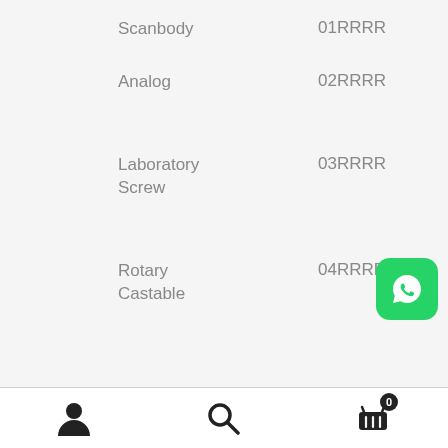| Item | Code |
| --- | --- |
| Scanbody | 01RRRR |
| Analog | 02RRRR |
| Laboratory Screw | 03RRRR |
| Rotary Castable | 04RRRR |
[Figure (logo): WhatsApp icon button, green rounded square with white phone/chat icon]
User account icon | Search icon | Cart icon with badge 0